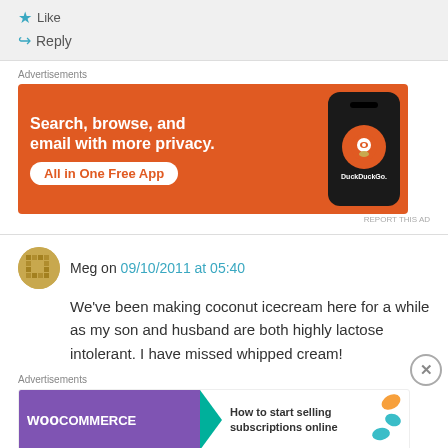★ Like
↪ Reply
Advertisements
[Figure (infographic): DuckDuckGo advertisement: orange background, text 'Search, browse, and email with more privacy. All in One Free App' with DuckDuckGo logo on a phone]
REPORT THIS AD
Meg on 09/10/2011 at 05:40
We've been making coconut icecream here for a while as my son and husband are both highly lactose intolerant. I have missed whipped cream!
Advertisements
[Figure (infographic): WooCommerce advertisement: purple WooCommerce logo on left, arrow shape, text 'How to start selling subscriptions online' on right with colorful leaf decorations]
REPORT THIS AD